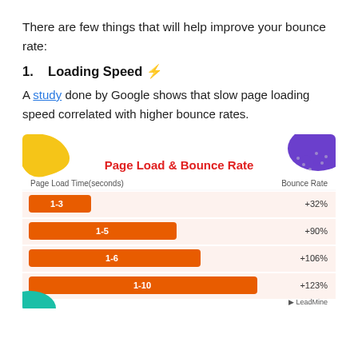There are few things that will help improve your bounce rate:
1.   Loading Speed 🖥
A study done by Google shows that slow page loading speed correlated with higher bounce rates.
[Figure (bar-chart): Page Load & Bounce Rate]